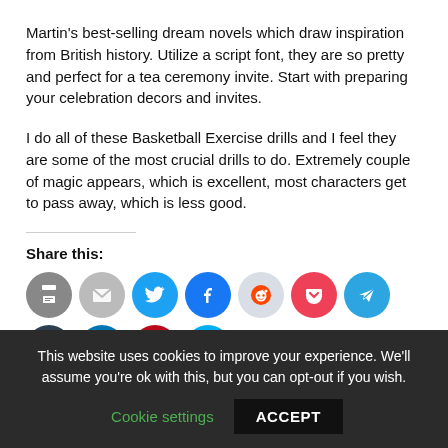Martin's best-selling dream novels which draw inspiration from British history. Utilize a script font, they are so pretty and perfect for a tea ceremony invite. Start with preparing your celebration decors and invites.
I do all of these Basketball Exercise drills and I feel they are some of the most crucial drills to do. Extremely couple of magic appears, which is excellent, most characters get to pass away, which is less good.
Share this:
[Figure (infographic): Row of social media share icon buttons: print, email, Twitter, Facebook, Reddit, Pocket, Telegram, Tumblr, LinkedIn, Pinterest, Skype, and a partially visible green (WhatsApp) icon below.]
This website uses cookies to improve your experience. We'll assume you're ok with this, but you can opt-out if you wish. Cookie settings  ACCEPT